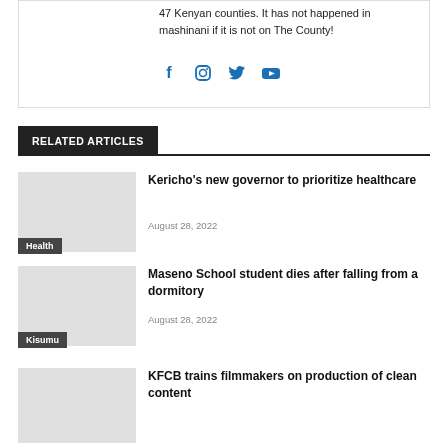47 Kenyan counties. It has not happened in mashinani if it is not on The County!
[Figure (illustration): Social media icons: Facebook, Instagram, Twitter, YouTube in blue]
RELATED ARTICLES
[Figure (photo): Placeholder image for Kericho healthcare article]
Kericho's new governor to prioritize healthcare
August 28, 2022
Health
[Figure (photo): Placeholder image for Maseno School article]
Maseno School student dies after falling from a dormitory
August 28, 2022
Kisumu
[Figure (photo): Placeholder image for KFCB article]
KFCB trains filmmakers on production of clean content